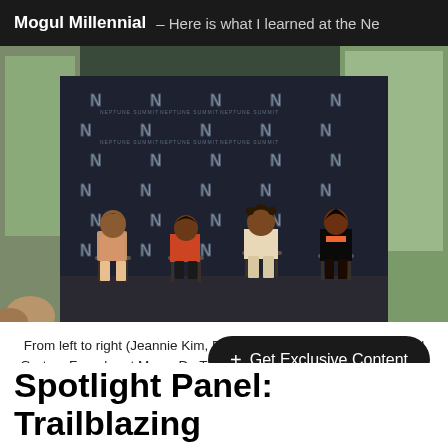Mogul Millennial – Here is what I learned at the Ne
[Figure (photo): Panel discussion with four women seated in chairs on a stage in front of a dark branded backdrop with the letter N and 'NEPTUNE SUMMIT' repeated. Background shows large windows with trees and buildings outside.]
From left to right (Jeannie Kim, Editorial Director at The Muse, Ariel Garten, Founder at Muse, Dr. Tarika Barrett, Chief Operating Officer, Girls Who Code and Mimi Rushton, Head of Corporate FX North America, Barclays)
+ Get Exclusive Content
Spotlight Panel: Trailblazing